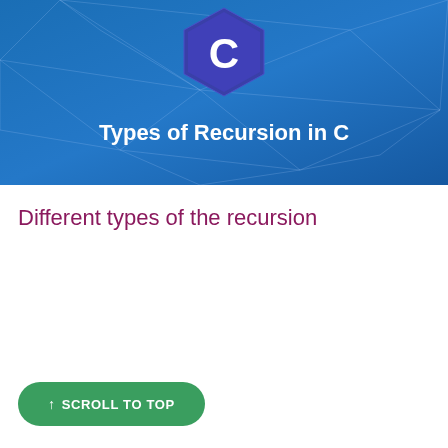[Figure (illustration): Blue banner with geometric network pattern background, C programming language hexagonal logo at top center, and white bold text 'Types of Recursion in C' at bottom]
Different types of the recursion
↑ SCROLL TO TOP